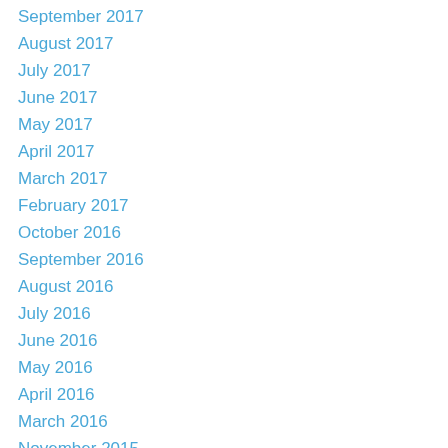September 2017
August 2017
July 2017
June 2017
May 2017
April 2017
March 2017
February 2017
October 2016
September 2016
August 2016
July 2016
June 2016
May 2016
April 2016
March 2016
November 2015
October 2015
September 2015
August 2015